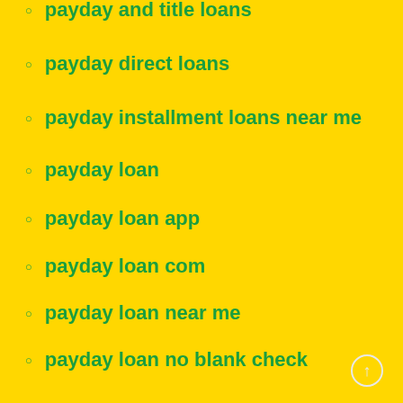payday and title loans
payday direct loans
payday installment loans near me
payday loan
payday loan app
payday loan com
payday loan near me
payday loan no blank check
payday loan payment plan
payday loan today
payday loand